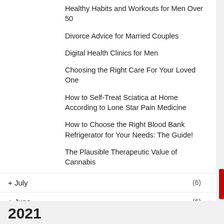Healthy Habits and Workouts for Men Over 50
Divorce Advice for Married Couples
Digital Health Clinics for Men
Choosing the Right Care For Your Loved One
How to Self-Treat Sciatica at Home According to Lone Star Pain Medicine
How to Choose the Right Blood Bank Refrigerator for Your Needs: The Guide!
The Plausible Therapeutic Value of Cannabis
+ July (6)
+ June (6)
+ May (4)
+ April (2)
+ March (4)
+ February (4)
2021